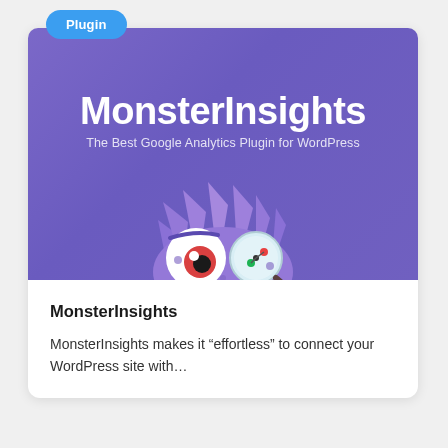Plugin
[Figure (illustration): MonsterInsights plugin card showing a purple banner with bold white text 'MonsterInsights' and subtitle 'The Best Google Analytics Plugin for WordPress', with a purple monster character holding a magnifying glass with analytics dots]
MonsterInsights
MonsterInsights makes it “effortless” to connect your WordPress site with…